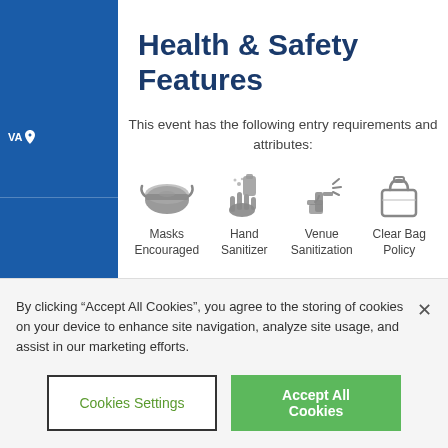Health & Safety Features
This event has the following entry requirements and attributes:
[Figure (infographic): Four health and safety icons: Masks Encouraged (face mask icon), Hand Sanitizer (hand with sanitizer bottle icon), Venue Sanitization (spray bottle icon), Clear Bag Policy (clear bag icon)]
Masks Encouraged
Hand Sanitizer
Venue Sanitization
Clear Bag Policy
Please note that government mandates and venue protocols including COVID-19 vaccination requirements...
By clicking “Accept All Cookies”, you agree to the storing of cookies on your device to enhance site navigation, analyze site usage, and assist in our marketing efforts.